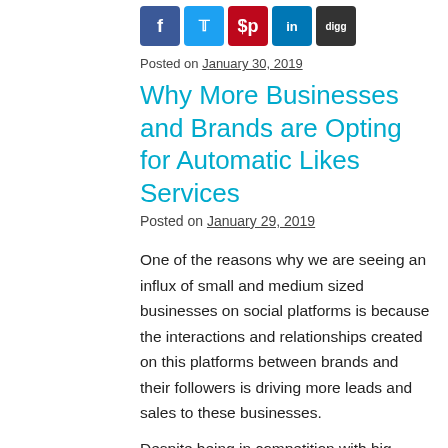[Figure (other): Social media share buttons: Facebook (blue), Twitter (light blue), Pinterest (red), LinkedIn (blue), Digg (dark gray)]
Posted on January 30, 2019
Why More Businesses and Brands are Opting for Automatic Likes Services
Posted on January 29, 2019
One of the reasons why we are seeing an influx of small and medium sized businesses on social platforms is because the interactions and relationships created on this platforms between brands and their followers is driving more leads and sales to these businesses.
Despite being in competition with big established firms, small businesses are curving a market for themselves anyway and business is booming. The platforms provides